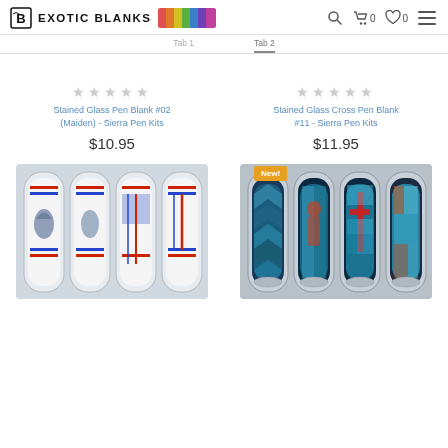Exotic Blanks
Stained Glass Pen Blank #02 (Maiden) - Sierra Pen Kits
$10.95
Stained Glass Cross Pen Blank #11 - Sierra Pen Kits
$11.95
[Figure (photo): Four white pen blanks with red, white and blue patriotic design in a clear plastic tray]
[Figure (photo): Four pen blanks with stained glass mosaic design including a cross in a clear plastic tray, labeled New!]